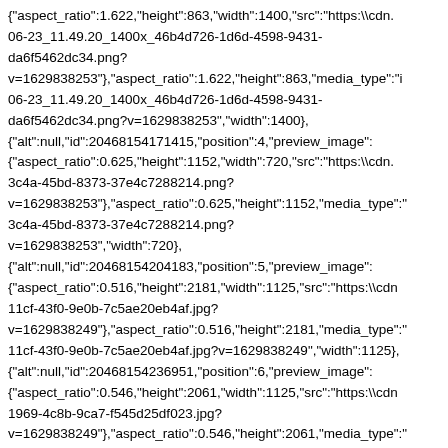{"aspect_ratio":1.622,"height":863,"width":1400,"src":"https:\/\/cdn.06-23_11.49.20_1400x_46b4d726-1d6d-4598-9431-da6f5462dc34.png?v=1629838253"},"aspect_ratio":1.622,"height":863,"media_type":"i06-23_11.49.20_1400x_46b4d726-1d6d-4598-9431-da6f5462dc34.png?v=1629838253","width":1400}, {"alt":null,"id":20468154171415,"position":4,"preview_image": {"aspect_ratio":0.625,"height":1152,"width":720,"src":"https:\/\/cdn.3c4a-45bd-8373-37e4c7288214.png?v=1629838253"},"aspect_ratio":0.625,"height":1152,"media_type":"3c4a-45bd-8373-37e4c7288214.png?v=1629838253","width":720}, {"alt":null,"id":20468154204183,"position":5,"preview_image": {"aspect_ratio":0.516,"height":2181,"width":1125,"src":"https:\/\/cdn11cf-43f0-9e0b-7c5ae20eb4af.jpg?v=1629838249"},"aspect_ratio":0.516,"height":2181,"media_type":"11cf-43f0-9e0b-7c5ae20eb4af.jpg?v=1629838249","width":1125}, {"alt":null,"id":20468154236951,"position":6,"preview_image": {"aspect_ratio":0.546,"height":2061,"width":1125,"src":"https:\/\/cdn1969-4c8b-9ca7-f545d25df023.jpg?v=1629838249"},"aspect_ratio":0.546,"height":2061,"media_type":"1969-4c8b-9ca7-f545d25df023.jpg?v=1629838249","width":1125}, {"alt":null,"id":20468154269719,"position":7,"preview_image": {"aspect_ratio":1.0,"height":1080,"width":1080,"src":"https:\/\/cdn.s